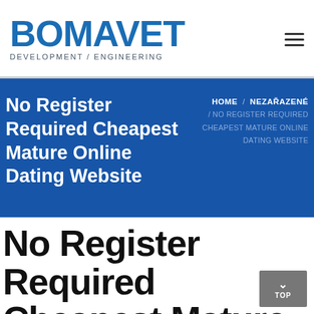[Figure (logo): BOMAVET logo with blue text and tagline DEVELOPMENT / ENGINEERING]
No Register Required Cheapest Mature Online Dating Website
HOME / NEZAŘAZENÉ / NO REGISTER REQUIRED CHEAPEST MATURE ONLINE DATING WEBSITE
No Register Required Cheapest Mature Online Dating Website